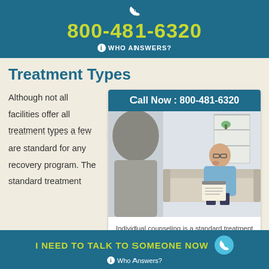800-481-6320 WHO ANSWERS?
Treatment Types
Although not all facilities offer all treatment types a few are standard for any recovery program. The standard treatment
[Figure (photo): Call Now banner with phone number 800-481-6320 above a photo of a counseling session showing a man sitting on a couch talking to a therapist holding a clipboard]
Individual counseling is a standard treatment option at most rehabs.
I NEED TO TALK TO SOMEONE NOW Who Answers?